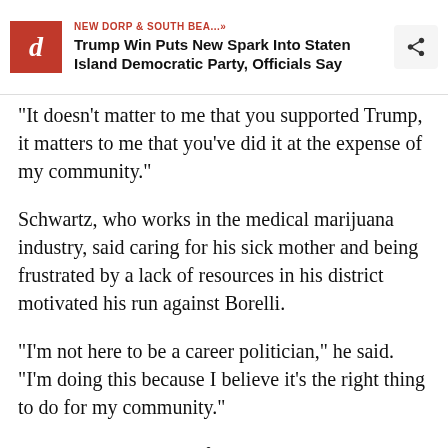NEW DORP & SOUTH BEA...» Trump Win Puts New Spark Into Staten Island Democratic Party, Officials Say
"It doesn't matter to me that you supported Trump, it matters to me that you've did it at the expense of my community."
Schwartz, who works in the medical marijuana industry, said caring for his sick mother and being frustrated by a lack of resources in his district motivated his run against Borelli.
"I'm not here to be a career politician," he said. "I'm doing this because I believe it's the right thing to do for my community."
Borelli said having his first competitor in an election since his 2010 Assembly run hasn't changed his tactics.